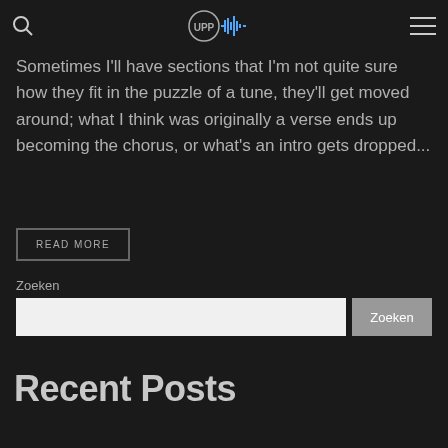[Logo: UPP audio waveform] [Search icon] [Menu icon]
Sometimes I'll have sections that I'm not quite sure how they fit in the puzzle of a tune, they'll get moved around; what I think was originally a verse ends up becoming the chorus, or what's an intro gets dropped...
READ MORE
Zoeken
Zoeken
Recent Posts